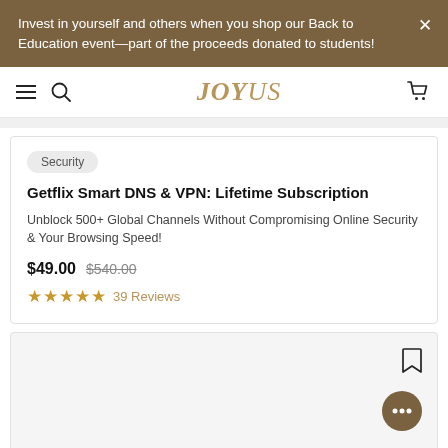Invest in yourself and others when you shop our Back to Education event—part of the proceeds donated to students!
JOYUS
Security
Getflix Smart DNS & VPN: Lifetime Subscription
Unblock 500+ Global Channels Without Compromising Online Security & Your Browsing Speed!
$49.00  $540.00
39 Reviews